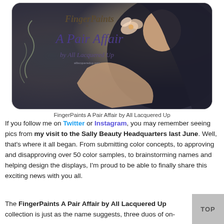[Figure (photo): Promotional image for FingerPaints 'A Pair Affair by All Lacquered Up' collection. Shows a woman in elegant pose with painted nails, with decorative script text overlaid on a soft gradient background.]
FingerPaints A Pair Affair by All Lacquered Up
If you follow me on Twitter or Instagram, you may remember seeing pics from my visit to the Sally Beauty Headquarters last June. Well, that's where it all began. From submitting color concepts, to approving and disapproving over 50 color samples, to brainstorming names and helping design the displays, I'm proud to be able to finally share this exciting news with you all.
The FingerPaints A Pair Affair by All Lacquered Up collection is just as the name suggests, three duos of on-